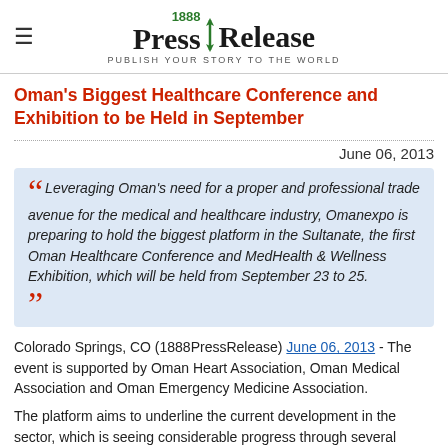1888 Press Release — PUBLISH YOUR STORY TO THE WORLD
Oman's Biggest Healthcare Conference and Exhibition to be Held in September
June 06, 2013
Leveraging Oman's need for a proper and professional trade avenue for the medical and healthcare industry, Omanexpo is preparing to hold the biggest platform in the Sultanate, the first Oman Healthcare Conference and MedHealth & Wellness Exhibition, which will be held from September 23 to 25.
Colorado Springs, CO (1888PressRelease) June 06, 2013 - The event is supported by Oman Heart Association, Oman Medical Association and Oman Emergency Medicine Association.
The platform aims to underline the current development in the sector, which is seeing considerable progress through several multi-billion healthcare projects, the landmark